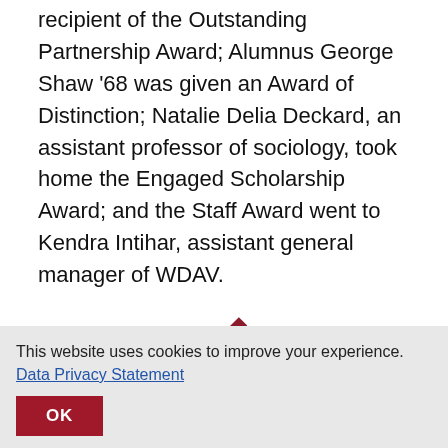recipient of the Outstanding Partnership Award; Alumnus George Shaw '68 was given an Award of Distinction; Natalie Delia Deckard, an assistant professor of sociology, took home the Engaged Scholarship Award; and the Staff Award went to Kendra Intihar, assistant general manager of WDAV.
[Figure (illustration): A dark red diamond shape used as a decorative divider]
PUBLISHED
May 17, 2018
This website uses cookies to improve your experience.  Data Privacy Statement
OK